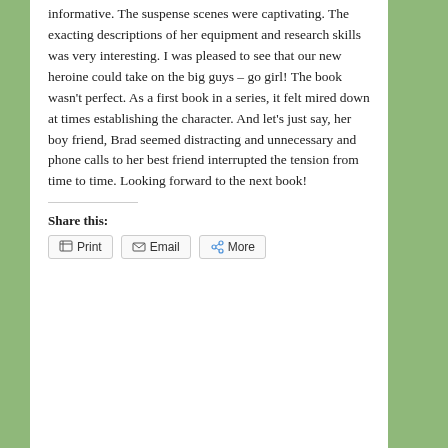informative. The suspense scenes were captivating. The exacting descriptions of her equipment and research skills was very interesting. I was pleased to see that our new heroine could take on the big guys – go girl!  The book wasn't perfect. As a first book in a series, it felt mired down at times establishing the character. And let's just say, her boy friend, Brad seemed distracting and unnecessary and phone calls to her best friend interrupted the tension from time to time.  Looking forward to the next book!
Share this:
Print  Email  More